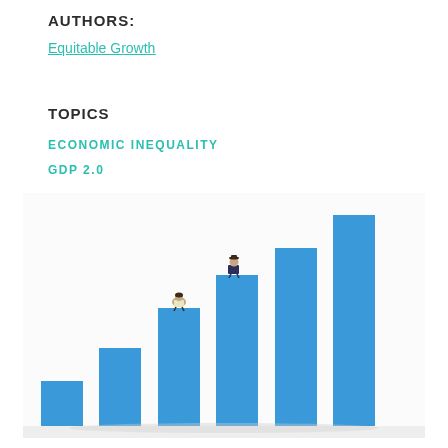AUTHORS:
Equitable Growth
TOPICS
ECONOMIC INEQUALITY
GDP 2.0
[Figure (photo): Photo of miniature figurines sitting on top of ascending blue bar chart columns against a white background, illustrating economic inequality and growth.]